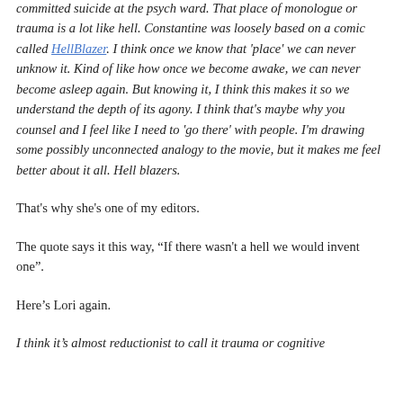committed suicide at the psych ward. That place of monologue or trauma is a lot like hell. Constantine was loosely based on a comic called HellBlazer. I think once we know that 'place' we can never unknow it. Kind of like how once we become awake, we can never become asleep again. But knowing it, I think this makes it so we understand the depth of its agony. I think that's maybe why you counsel and I feel like I need to 'go there' with people. I'm drawing some possibly unconnected analogy to the movie, but it makes me feel better about it all. Hell blazers.
That's why she's one of my editors.
The quote says it this way, “If there wasn't a hell we would invent one”.
Here’s Lori again.
I think it’s almost reductionist to call it trauma or cognitive